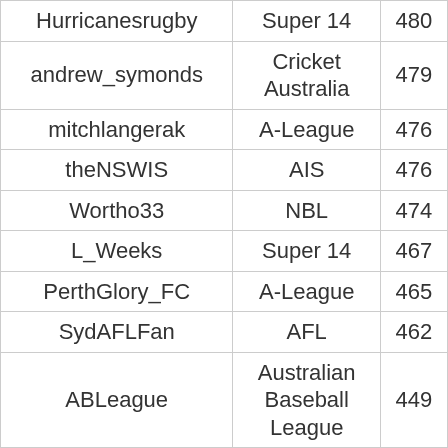| Hurricanesrugby | Super 14 | 480 |
| andrew_symonds | Cricket Australia | 479 |
| mitchlangerak | A-League | 476 |
| theNSWIS | AIS | 476 |
| Wortho33 | NBL | 474 |
| L_Weeks | Super 14 | 467 |
| PerthGlory_FC | A-League | 465 |
| SydAFLFan | AFL | 462 |
| ABLeague | Australian Baseball League | 449 |
| joe_tomane29 | NRL | 445 |
| RedsRugby | Super 14 | 436 |
| ryannapoleon | Swimming Australia | 435 |